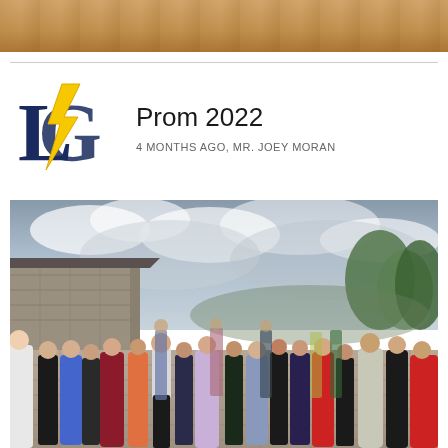[Figure (photo): Top portion of a wooden floor or table surface, warm brown tones, cropped at top of page]
[Figure (logo): School logo: large dark navy letter L with a yellow lightning bolt, and a G behind it, navy and yellow school colors]
Prom 2022
4 MONTHS AGO, MR. JOEY MORAN
[Figure (photo): Outdoor prom gathering on a stone patio terrace. Students dressed in formal attire — gowns and suits — mingling in groups. Stone building on the left, overcast cloudy sky, trees in background. Colors include maroon, blue, orange, lavender, white, red, and black dresses.]